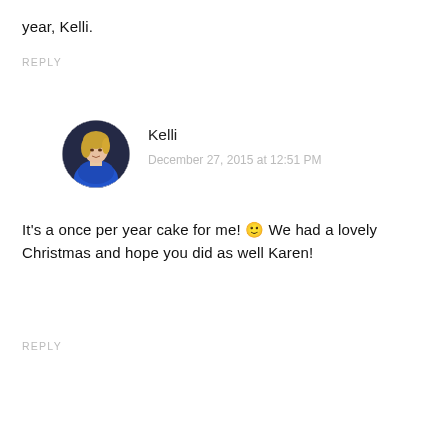year, Kelli.
REPLY
[Figure (photo): Circular avatar photo of Kelli, a woman with blonde hair wearing a blue jacket]
Kelli
December 27, 2015 at 12:51 PM
It's a once per year cake for me! 🙂 We had a lovely Christmas and hope you did as well Karen!
REPLY